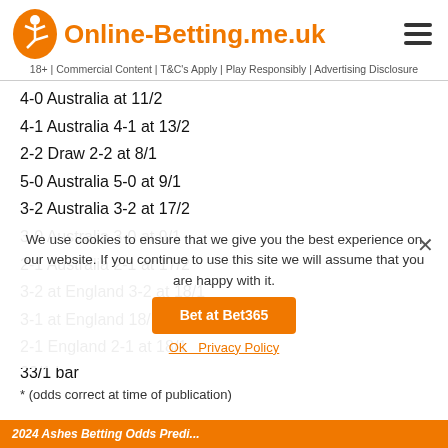Online-Betting.me.uk
18+ | Commercial Content | T&C's Apply | Play Responsibly | Advertising Disclosure
4-0 Australia at 11/2
4-1 Australia 4-1 at 13/2
2-2 Draw 2-2 at 8/1
5-0 Australia 5-0 at 9/1
3-2 Australia 3-2 at 17/2
3-0 Australia 3-0 at 9/1
2-1 Australia 2-1 at 17/2
3-2 at England 3-2 at 18/1
3-1 at England 18/1
2-1 England 2-1 at 18/1
33/1 bar
* (odds correct at time of publication)
We use cookies to ensure that we give you the best experience on our website. If you continue to use this site we will assume that you are happy with it.